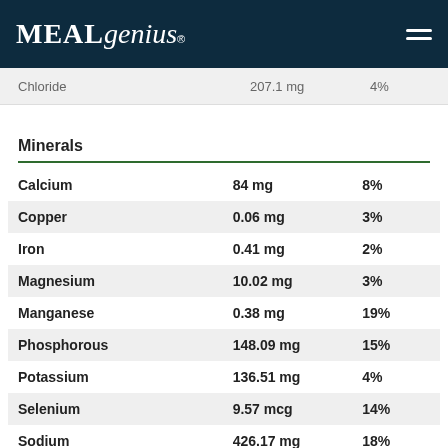MealGenius
Chloride  207.1 mg  4%
Minerals
|  |  |  |
| --- | --- | --- |
| Calcium | 84 mg | 8% |
| Copper | 0.06 mg | 3% |
| Iron | 0.41 mg | 2% |
| Magnesium | 10.02 mg | 3% |
| Manganese | 0.38 mg | 19% |
| Phosphorous | 148.09 mg | 15% |
| Potassium | 136.51 mg | 4% |
| Selenium | 9.57 mcg | 14% |
| Sodium | 426.17 mg | 18% |
| Zinc | 0.47 mg | 3% |